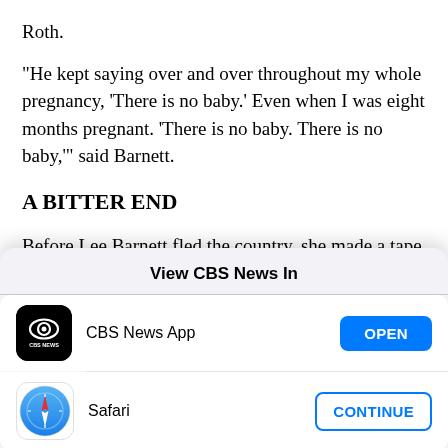Roth.
"He kept saying over and over throughout my whole pregnancy, 'There is no baby.' Even when I was eight months pregnant. 'There is no baby. There is no baby,'" said Barnett.
A BITTER END
Before Lee Barnett fled the country, she made a tape
[Figure (screenshot): iOS app selection modal with title 'View CBS News In', showing CBS News App with OPEN button and Safari with CONTINUE button]